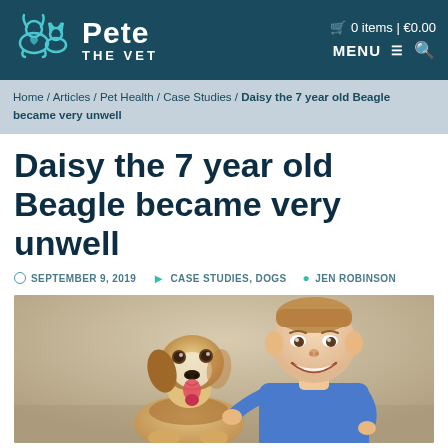Pete the Vet — 0 items | €0.00 — MENU
Home / Articles / Pet Health / Case Studies / Daisy the 7 year old Beagle became very unwell
Daisy the 7 year old Beagle became very unwell
SEPTEMBER 9, 2019   CASE STUDIES, DOGS   JEN ROBINSON
[Figure (photo): A smiling young boy in a blue t-shirt posing with a Beagle dog, photographed against a beige background.]